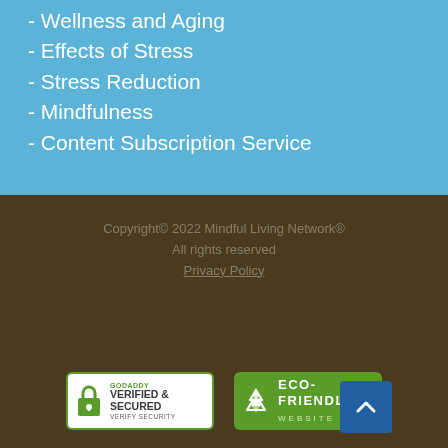- Wellness and Aging
- Effects of Stress
- Stress Reduction
- Mindfulness
- Content Subscription Service
Copyright© 2022 Mindful Living Network® All rights reserved Privacy Policy
[Figure (logo): GoDaddy Verified & Secured badge with lock icon]
[Figure (logo): Eco-Friendly Website badge with recycle icon]